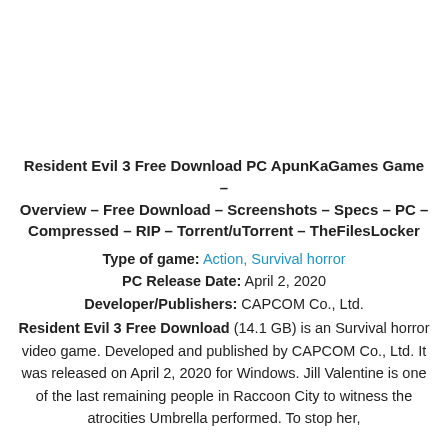Resident Evil 3 Free Download PC ApunKaGames Game – Overview – Free Download – Screenshots – Specs – PC – Compressed – RIP – Torrent/uTorrent – TheFilesLocker
Type of game: Action, Survival horror
PC Release Date: April 2, 2020
Developer/Publishers: CAPCOM Co., Ltd.
Resident Evil 3 Free Download (14.1 GB) is an Survival horror video game. Developed and published by CAPCOM Co., Ltd. It was released on April 2, 2020 for Windows. Jill Valentine is one of the last remaining people in Raccoon City to witness the atrocities Umbrella performed. To stop her,